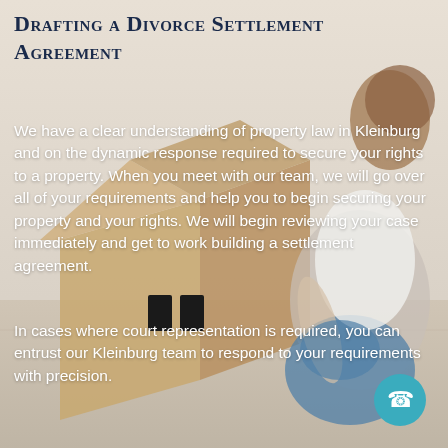[Figure (photo): Background photo of a woman sitting with knees up, leaning against a cardboard box shaped like a house, on a light wooden floor. The image is in light/beige tones.]
Drafting a Divorce Settlement Agreement
We have a clear understanding of property law in Kleinburg and on the dynamic response required to secure your rights to a property. When you meet with our team, we will go over all of your requirements and help you to begin securing your property and your rights. We will begin reviewing your case immediately and get to work building a settlement agreement.
In cases where court representation is required, you can entrust our Kleinburg team to respond to your requirements with precision.